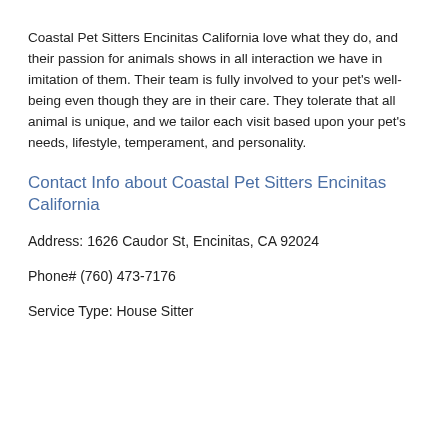Coastal Pet Sitters Encinitas California love what they do, and their passion for animals shows in all interaction we have in imitation of them. Their team is fully involved to your pet's well-being even though they are in their care. They tolerate that all animal is unique, and we tailor each visit based upon your pet's needs, lifestyle, temperament, and personality.
Contact Info about Coastal Pet Sitters Encinitas California
Address: 1626 Caudor St, Encinitas, CA 92024
Phone# (760) 473-7176
Service Type: House Sitter